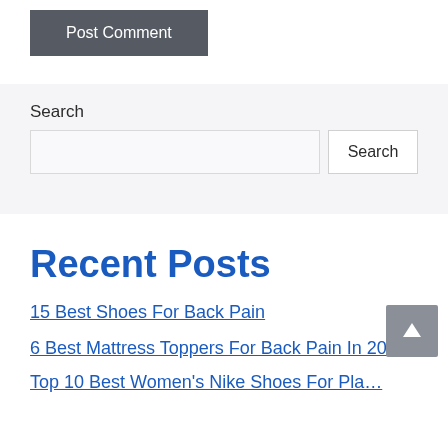Post Comment
Search
Recent Posts
15 Best Shoes For Back Pain
6 Best Mattress Toppers For Back Pain In 2022
Top 10 Best Women's Nike Shoes For Plantar…